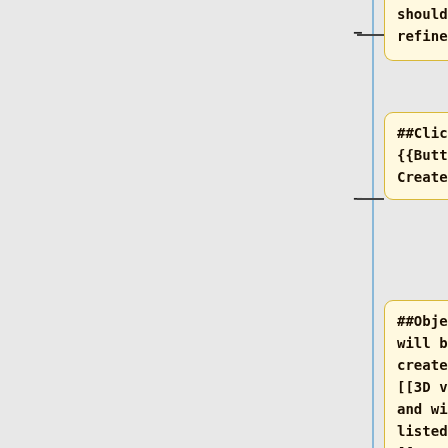should be refined
##Click on {{Button|Create}}
##Object will be created in [[3D view]] and will be listed in [[tree view]]
==Limitations==
This tool can create the following objects: